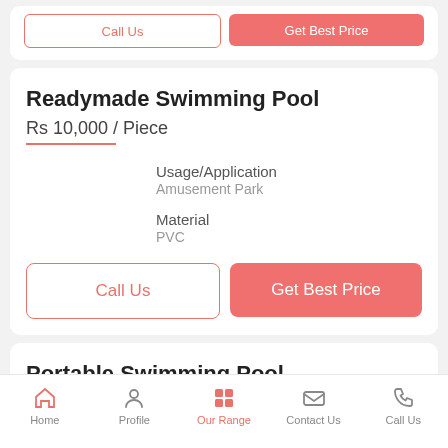Readymade Swimming Pool
Rs 10,000 / Piece
Usage/Application
Amusement Park
Material
PVC
Call Us
Get Best Price
Portable Swimming Pool
Home   Profile   Our Range   Contact Us   Call Us